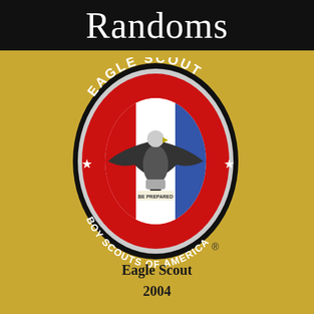Randoms
[Figure (logo): Eagle Scout Boy Scouts of America medallion logo: oval badge with black outer ring, red band with white text reading 'EAGLE SCOUT' on top and 'BOY SCOUTS OF AMERICA' on bottom, two white stars on either side, inner oval with red, white, and blue vertical stripes, eagle with spread wings in center, scroll at bottom reading 'BE PREPARED', registered trademark symbol at bottom right]
Eagle Scout
2004